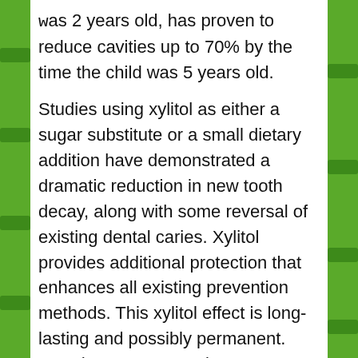was 2 years old, has proven to reduce cavities up to 70% by the time the child was 5 years old.
Studies using xylitol as either a sugar substitute or a small dietary addition have demonstrated a dramatic reduction in new tooth decay, along with some reversal of existing dental caries. Xylitol provides additional protection that enhances all existing prevention methods. This xylitol effect is long-lasting and possibly permanent. Low decay rates persist even years after the trials have been completed.
Xylitol is widely distributed throughout nature in small amounts. Some of the best sources are fruits, berries, mushrooms, lettuce, and corn cobs. One cup of raspberries contains less than one gram of xylitol.
Studies suggest xylitol intake that consistently produces positive results ranged from 4-20 grams per